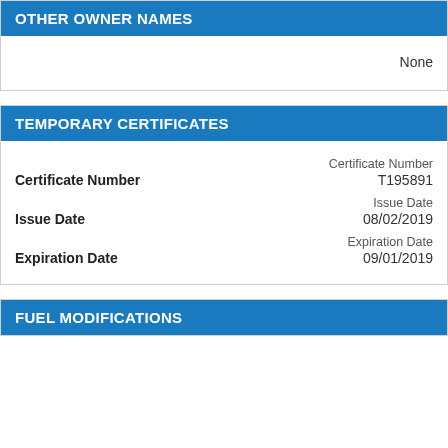OTHER OWNER NAMES
None
TEMPORARY CERTIFICATES
| Field | Value |
| --- | --- |
| Certificate Number | T195891 |
| Issue Date | 08/02/2019 |
| Expiration Date | 09/01/2019 |
FUEL MODIFICATIONS